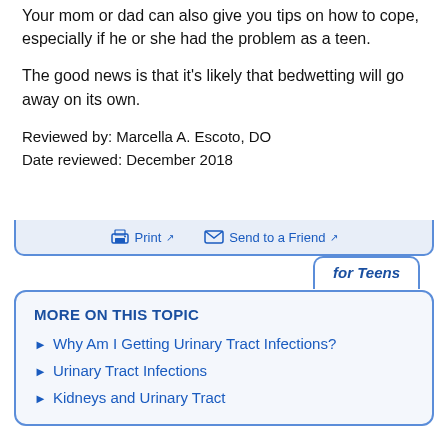Your mom or dad can also give you tips on how to cope, especially if he or she had the problem as a teen.
The good news is that it's likely that bedwetting will go away on its own.
Reviewed by: Marcella A. Escoto, DO
Date reviewed: December 2018
MORE ON THIS TOPIC
Why Am I Getting Urinary Tract Infections?
Urinary Tract Infections
Kidneys and Urinary Tract
Print  Send to a Friend